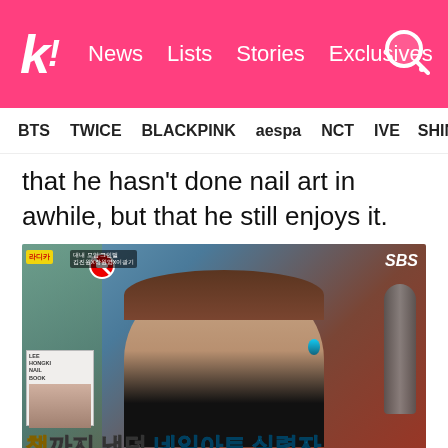k! News  Lists  Stories  Exclusives
BTS  TWICE  BLACKPINK  aespa  NCT  IVE  SHINee
that he hasn't done nail art in awhile, but that he still enjoys it.
[Figure (screenshot): SBS TV show screenshot showing a Korean male celebrity with short brown hair wearing a black outfit, with Korean subtitle text reading '책까지 냈던 네일아트 실력자' and a nail book insert in the lower left corner.]
| SBS